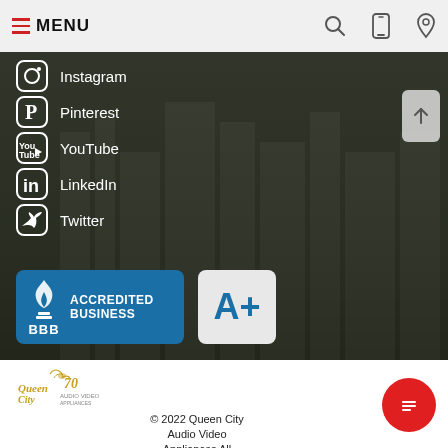MENU
Instagram
Pinterest
YouTube
LinkedIn
Twitter
[Figure (logo): BBB Accredited Business badge with A+ rating]
[Figure (logo): Queen City Audio Video Appliances logo]
© 2022 Queen City Audio Video Appliances All Rights Reserved